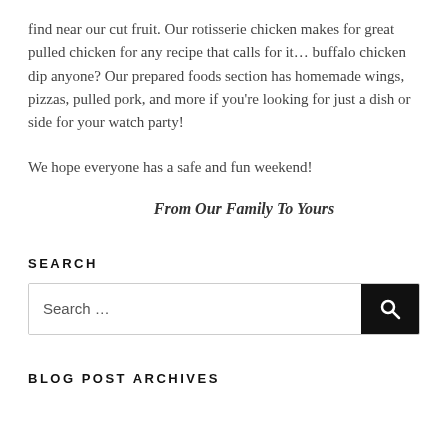find near our cut fruit. Our rotisserie chicken makes for great pulled chicken for any recipe that calls for it… buffalo chicken dip anyone? Our prepared foods section has homemade wings, pizzas, pulled pork, and more if you're looking for just a dish or side for your watch party!
We hope everyone has a safe and fun weekend!
From Our Family To Yours
SEARCH
BLOG POST ARCHIVES